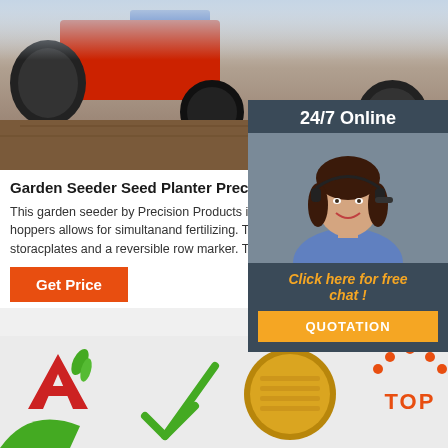[Figure (photo): Garden seeder/seed planter machinery working in soil, with red and blue tractor-like equipment and large wheels visible]
[Figure (photo): 24/7 Online customer service agent - woman wearing headset smiling, with orange 'Click here for free chat!' text and orange QUOTATION button, dark blue panel]
Garden Seeder Seed Planter Precision Products
This garden seeder by Precision Products is an efficient, easy-to-use seeder. The two hoppers allows for simultaneous seeding and fertilizing. The garden seeder includes a storage bag, seed plates and a reversible row marker. The seeder has a powder-coated steel frame.
Get Price
[Figure (logo): Company logo with stylized letter A in red and green wheat, green checkmark arrow, corn/grain image on wooden board background, and orange TOP button with dots in top right corner]